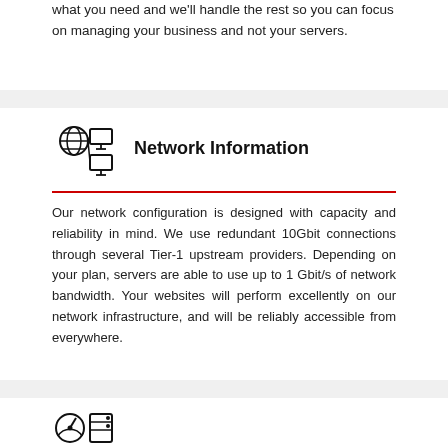what you need and we'll handle the rest so you can focus on managing your business and not your servers.
Network Information
Our network configuration is designed with capacity and reliability in mind. We use redundant 10Gbit connections through several Tier-1 upstream providers. Depending on your plan, servers are able to use up to 1 Gbit/s of network bandwidth. Your websites will perform excellently on our network infrastructure, and will be reliably accessible from everywhere.